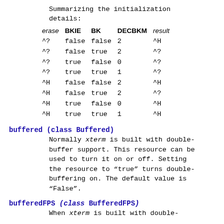Summarizing the initialization details:
| erase | BKIE | BK | DECBKM | result |
| --- | --- | --- | --- | --- |
| ^? | false | false | 2 | ^H |
| ^? | false | true | 2 | ^? |
| ^? | true | false | 0 | ^? |
| ^? | true | true | 1 | ^? |
| ^H | false | false | 2 | ^H |
| ^H | false | true | 2 | ^? |
| ^H | true | false | 0 | ^H |
| ^H | true | true | 1 | ^H |
buffered (class Buffered)
Normally xterm is built with double-buffer support. This resource can be used to turn it on or off. Setting the resource to “true” turns double-buffering on. The default value is “False”.
bufferedFPS (class BufferedFPS)
When xterm is built with double-